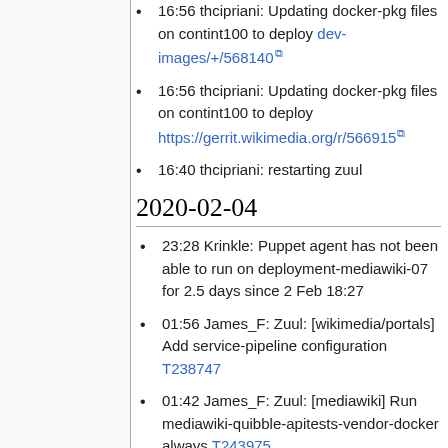16:56 thcipriani: Updating docker-pkg files on contint100 to deploy https://gerrit.wikimedia.org/r/566915
16:40 thcipriani: restarting zuul
2020-02-04
23:28 Krinkle: Puppet agent has not been able to run on deployment-mediawiki-07 for 2.5 days since 2 Feb 18:27
01:56 James_F: Zuul: [wikimedia/portals] Add service-pipeline configuration T238747
01:42 James_F: Zuul: [mediawiki] Run mediawiki-quibble-apitests-vendor-docker always T243975
2020-02-03